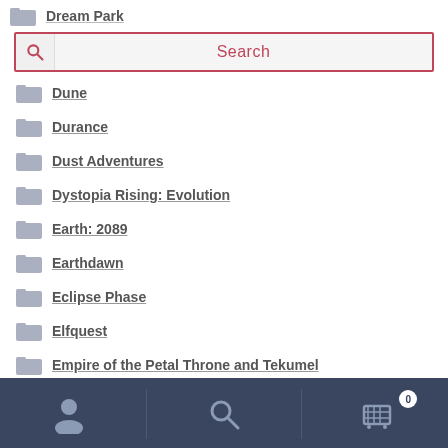Dream Park
[Figure (screenshot): Search bar with magnifying glass icon and placeholder text 'Search']
Dune
Durance
Dust Adventures
Dystopia Rising: Evolution
Earth: 2089
Earthdawn
Eclipse Phase
Elfquest
Empire of the Petal Throne and Tekumel
Era
[Figure (screenshot): Bottom navigation bar with user icon, search icon, and cart icon with badge showing 0]